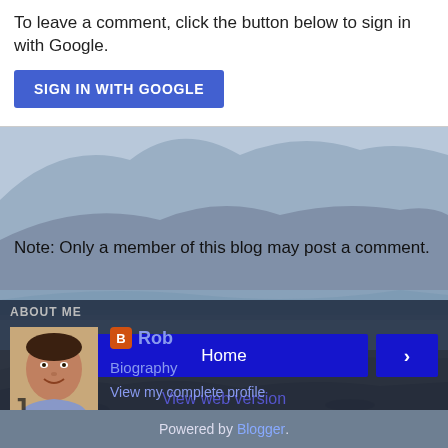To leave a comment, click the button below to sign in with Google.
SIGN IN WITH GOOGLE
Note: Only a member of this blog may post a comment.
[Figure (photo): Landscape background photo showing a lake or reservoir with mountains in the background, dry terrain in the foreground]
‹
Home
›
View web version
ABOUT ME
[Figure (photo): Profile photo of a man smiling, middle-aged]
Rob
Biography
View my complete profile
Powered by Blogger.